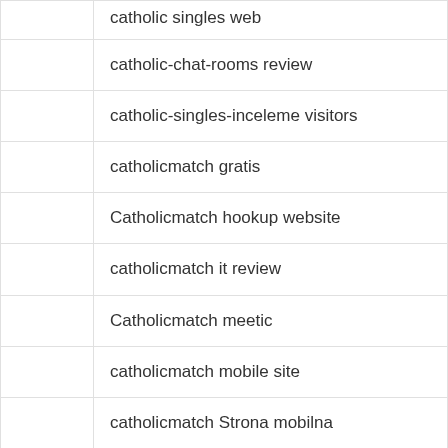catholic singles web
catholic-chat-rooms review
catholic-singles-inceleme visitors
catholicmatch gratis
Catholicmatch hookup website
catholicmatch it review
Catholicmatch meetic
catholicmatch mobile site
catholicmatch Strona mobilna
Catholicmatch unf?hige
catholicmatch-overzicht MOBIELE SITE